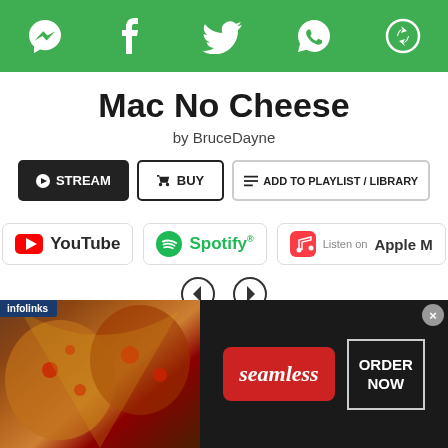Social sharing bar with Messenger, Facebook, Twitter, WhatsApp, and share icons
Mac No Cheese
by BruceDayne
STREAM | BUY | ADD TO PLAYLIST / LIBRARY
[Figure (other): Streaming platform logos: YouTube, Spotify, Apple Music (partially visible)]
[Figure (other): Navigation arrows: left and right circle arrow buttons]
By using this service you agree to our terms. You can always disconnect your profile from Soundplate. Powered by Soundplate Clicks | Smart Links for Music
[Figure (other): infolinks advertisement banner showing pizza image on left, Seamless logo in center, ORDER NOW button on right with close X button]